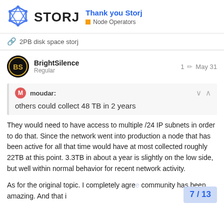STORJ — Thank you Storj — Node Operators
🔗 2PB disk space storj
BrightSilence
Regular
1 ✏ May 31
moudar:
others could collect 48 TB in 2 years
They would need to have access to multiple /24 IP subnets in order to do that. Since the network went into production a node that has been active for all that time would have at most collected roughly 22TB at this point. 3.3TB in about a year is slightly on the low side, but well within normal behavior for recent network activity.
As for the original topic. I completely agre… community has been amazing. And that i…
7 / 13